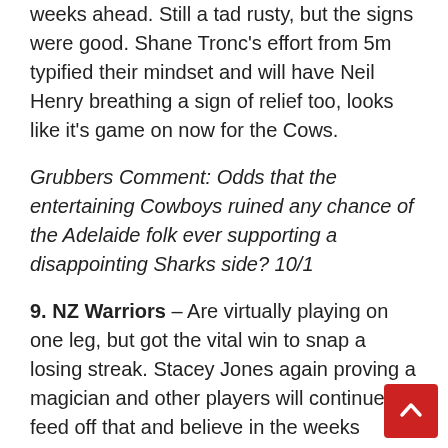weeks ahead. Still a tad rusty, but the signs were good. Shane Tronc's effort from 5m typified their mindset and will have Neil Henry breathing a sign of relief too, looks like it's game on now for the Cows.
Grubbers Comment: Odds that the entertaining Cowboys ruined any chance of the Adelaide folk ever supporting a disappointing Sharks side? 10/1
9. NZ Warriors – Are virtually playing on one leg, but got the vital win to snap a losing streak. Stacey Jones again proving a magician and other players will continue to feed off that and believe in the weeks ahead. At times guilty of going ad-lib, but Cleary should get this out of these guys in the weeks ahead. Drawing good